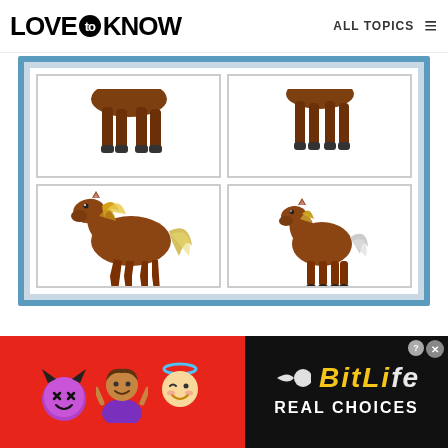LOVE to KNOW  ALL TOPICS
[Figure (illustration): A grid of four horse emoji/cartoon images in white-bordered cells inside a blue-bordered container. Top row shows partial horse images (cropped). Bottom row shows two full horse illustrations: left is a large brown horse with golden mane walking, right is a smaller brown horse with white tail standing.]
[Figure (illustration): Advertisement banner with red background showing emoji characters (devil, person, angel) and the BitLife game logo with 'REAL CHOICES' text on dark background.]